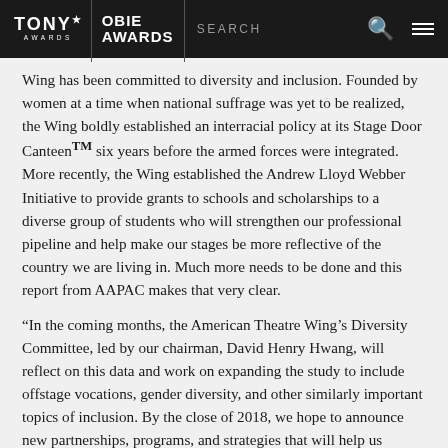TONY AWARDS | OBIE AWARDS | SEARCH
Wing has been committed to diversity and inclusion. Founded by women at a time when national suffrage was yet to be realized, the Wing boldly established an interracial policy at its Stage Door Canteen™ six years before the armed forces were integrated. More recently, the Wing established the Andrew Lloyd Webber Initiative to provide grants to schools and scholarships to a diverse group of students who will strengthen our professional pipeline and help make our stages be more reflective of the country we are living in. Much more needs to be done and this report from AAPAC makes that very clear.
“In the coming months, the American Theatre Wing’s Diversity Committee, led by our chairman, David Henry Hwang, will reflect on this data and work on expanding the study to include offstage vocations, gender diversity, and other similarly important topics of inclusion. By the close of 2018, we hope to announce new partnerships, programs, and strategies that will help us continue to move the needle. We urge our colleagues in the theatre to do the